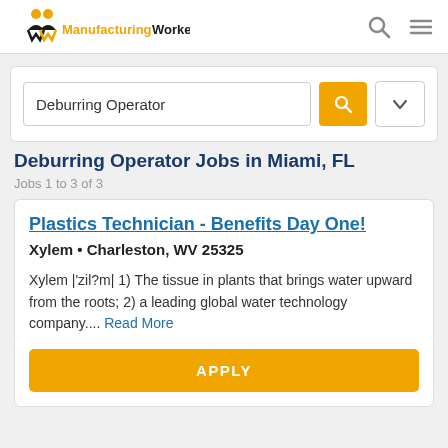ManufacturingWorkers
[Figure (screenshot): Search bar with 'Deburring Operator' text, orange search button, and dropdown button]
Deburring Operator Jobs in Miami, FL
Jobs 1 to 3 of 3
Plastics Technician - Benefits Day One!
Xylem • Charleston, WV 25325
Xylem |'zil?m| 1) The tissue in plants that brings water upward from the roots; 2) a leading global water technology company.... Read More